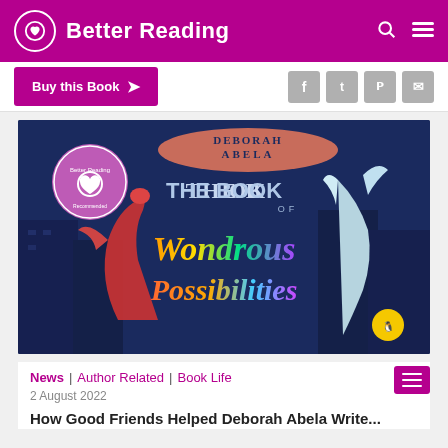Better Reading
Buy this Book >
[Figure (photo): Book cover of 'The Book of Wondrous Possibilities' by Deborah Abela, published by Puffin. Dark blue background with two mythical creatures (a red dragon-like creature and a white/teal horse-like creature) flanking colorful fantasy lettering. Better Reading badge in top-left corner.]
News | Author Related | Book Life
2 August 2022
How Good Friends Helped Deborah Abela Write...